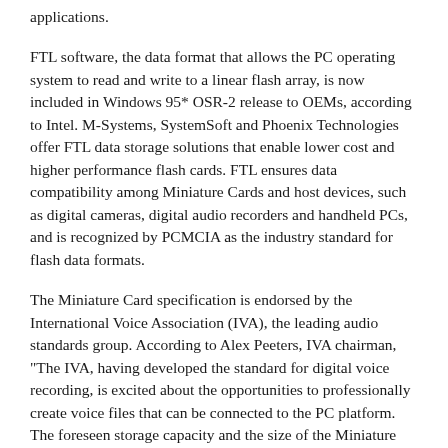applications.
FTL software, the data format that allows the PC operating system to read and write to a linear flash array, is now included in Windows 95* OSR-2 release to OEMs, according to Intel. M-Systems, SystemSoft and Phoenix Technologies offer FTL data storage solutions that enable lower cost and higher performance flash cards. FTL ensures data compatibility among Miniature Cards and host devices, such as digital cameras, digital audio recorders and handheld PCs, and is recognized by PCMCIA as the industry standard for flash data formats.
The Miniature Card specification is endorsed by the International Voice Association (IVA), the leading audio standards group. According to Alex Peeters, IVA chairman, "The IVA, having developed the standard for digital voice recording, is excited about the opportunities to professionally create voice files that can be connected to the PC platform. The foreseen storage capacity and the size of the Miniature Card enables the fast and dependable data and voice file transfer to and from a portable recorder to any PC that the professional world needs."
The Miniature Card specification describes a card that